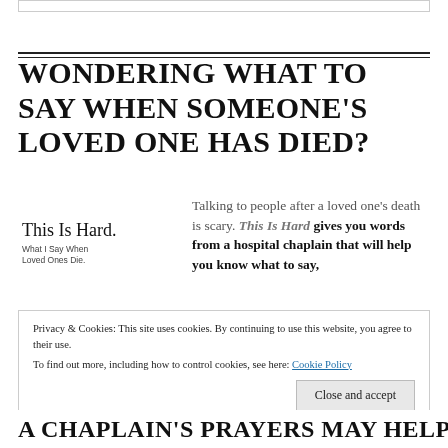WONDERING WHAT TO SAY WHEN SOMEONE'S LOVED ONE HAS DIED?
[Figure (logo): Book logo: 'This Is Hard. What I Say When Loved Ones Die.']
Talking to people after a loved one's death is scary. This Is Hard gives you words from a hospital chaplain that will help you know what to say,
Privacy & Cookies: This site uses cookies. By continuing to use this website, you agree to their use.
To find out more, including how to control cookies, see here: Cookie Policy
Close and accept
A CHAPLAIN'S PRAYERS MAY HELP YOUR